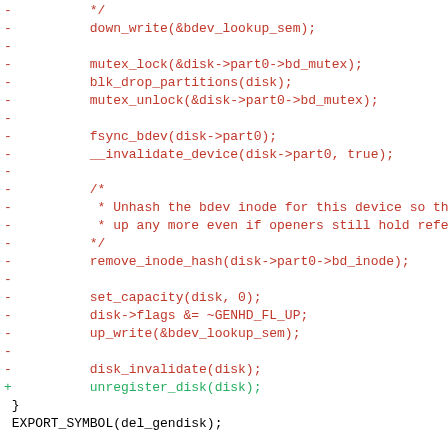code diff showing del_gendisk function changes
--
2.30.2